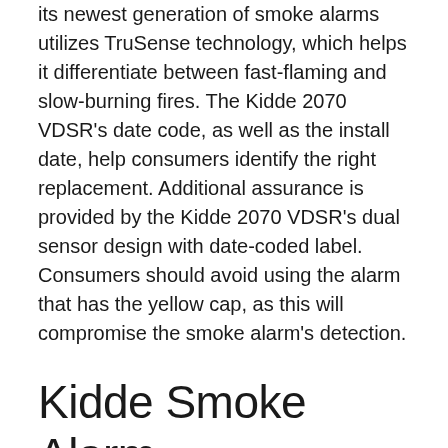its newest generation of smoke alarms utilizes TruSense technology, which helps it differentiate between fast-flaming and slow-burning fires. The Kidde 2070 VDSR's date code, as well as the install date, help consumers identify the right replacement. Additional assurance is provided by the Kidde 2070 VDSR's dual sensor design with date-coded label. Consumers should avoid using the alarm that has the yellow cap, as this will compromise the smoke alarm's detection.
Kidde Smoke Alarm
The Kidde i9010 sealed, battery-operated smoke alarm has a self-activating mechanism and a Hush(tm). The alarm's